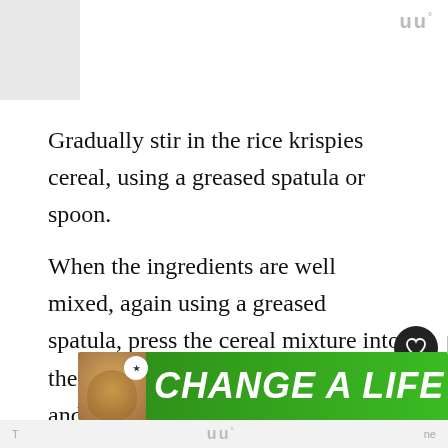uu°
Gradually stir in the rice krispies cereal, using a greased spatula or spoon.
When the ingredients are well mixed, again using a greased spatula, press the cereal mixture into the 9 X 13 pan, spreading it evenly and smoothing it across the top.  We really like Wilton's baking pans, because they come with a plastic lid, making it a great container!
[Figure (screenshot): Ad banner showing a dog and text 'CHANGE A LIFE' on green background with close button and heart icon]
T ... ne uu°